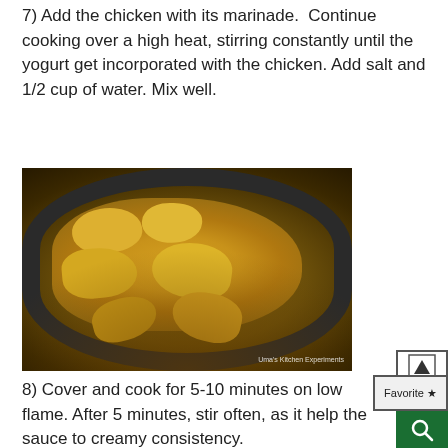7) Add the chicken with its marinade. Continue cooking over a high heat, stirring constantly until the yogurt get incorporated with the chicken. Add salt and 1/2 cup of water. Mix well.
[Figure (photo): A dark wok/pan containing pieces of chicken in a golden-brown yogurt-based sauce/marinade, viewed from above. Watermark reads 'Uma's Kitchen Experiments'.]
8) Cover and cook for 5-10 minutes on low flame. After 5 minutes, stir often, as it help the sauce to creamy consistency.